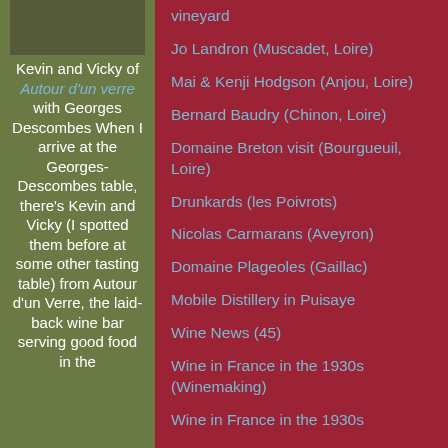[Figure (photo): Partial photo of people at top of left column]
Kevin and Vicky of Autour d'un verre with Georges Descombes When I arrive at the Georges-Descombes table, there's Kevin and Vicky (I spotted them before at some other tasting table) from Autour d'un Verre, the laid-back wine bar serving good food in the
vineyard
Jo Landron (Muscadet, Loire)
Mai & Kenji Hodgson (Anjou, Loire)
Bernard Baudry (Chinon, Loire)
Domaine Breton visit (Bourgueuil, Loire)
Drunkards (les Poivrots)
Nicolas Carmarans (Aveyron)
Domaine Plageoles (Gaillac)
Mobile Distillery in Puisaye
Wine News (45)
Wine in France in the 1930s (Winemaking)
Wine in France in the 1930s